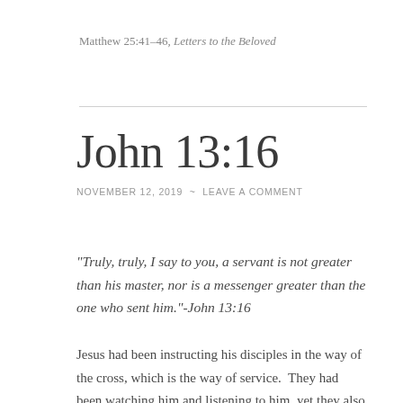Matthew 25:41–46, Letters to the Beloved
John 13:16
NOVEMBER 12, 2019  ~  LEAVE A COMMENT
“Truly, truly, I say to you, a servant is not greater than his master, nor is a messenger greater than the one who sent him.”-John 13:16
Jesus had been instructing his disciples in the way of the cross, which is the way of service.  They had been watching him and listening to him, yet they also held on to a tiny